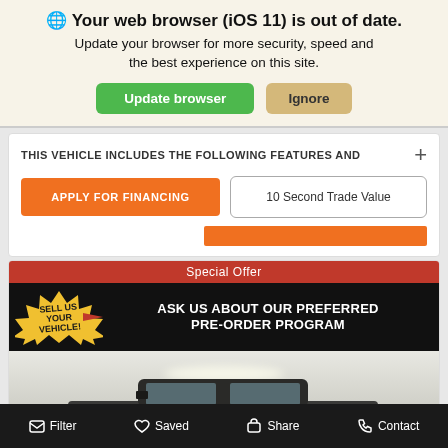🌐 Your web browser (iOS 11) is out of date. Update your browser for more security, speed and the best experience on this site.
Update browser | Ignore
THIS VEHICLE INCLUDES THE FOLLOWING FEATURES AND
APPLY FOR FINANCING
10 Second Trade Value
[Figure (screenshot): Car dealership listing page showing a Special Offer banner: 'SELL US YOUR VEHICLE!' starburst and 'ASK US ABOUT OUR PREFERRED PRE-ORDER PROGRAM' text, with a dark Jeep pickup truck photo below]
Filter | Saved | Share | Contact